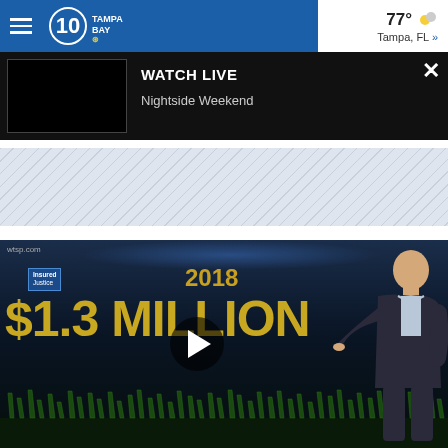10 Tampa Bay — 77° Tampa, FL »
WATCH LIVE
Nightside Weekend
[Figure (screenshot): Video thumbnail showing a man pointing at a screen with '2018 $1.3 MILLION' text on a dark background with grass graphics and a play button overlay. wtsp.com watermark visible.]